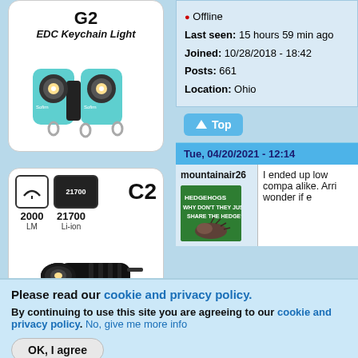[Figure (illustration): Advertisement for Sofirn G2 EDC Keychain Light showing product image with two teal flashlight heads]
[Figure (illustration): Advertisement for Sofirn C2 flashlight with specs: 2000 LM, 21700 Li-ion battery]
Offline
Last seen: 15 hours 59 min ago
Joined: 10/28/2018 - 18:42
Posts: 661
Location: Ohio
Top
Tue, 04/20/2021 - 12:14
mountainair26
I ended up low compa alike. Arri wonder if e
Please read our cookie and privacy policy.
By continuing to use this site you are agreeing to our cookie and privacy policy. No, give me more info
OK, I agree